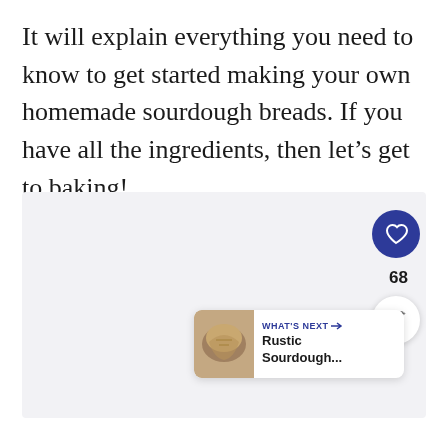It will explain everything you need to know to get started making your own homemade sourdough breads. If you have all the ingredients, then let's get to baking!
[Figure (screenshot): Gray placeholder image area with social interaction buttons: a heart/like button (dark blue circle with white heart icon), a count of 68, a share button (white circle with share icon), and a 'What's Next' card showing 'Rustic Sourdough...' with a bread thumbnail image.]